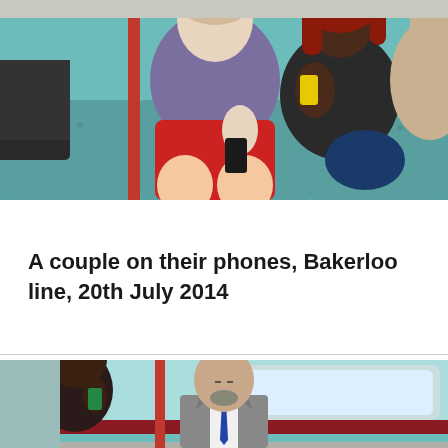[Figure (illustration): Illustration of two people sitting on London Underground train seats, both looking at their phones. Person on left wears purple shirt and red shorts, person on right wears dark clothing and holds a yellow phone. Teal/turquoise patterned seats visible.]
A couple on their phones, Bakerloo line, 20th July 2014
[Figure (illustration): Illustration of people on London Underground train. A bald man in grey suit with blue tie stands in the centre, looking down. A woman in black dress is visible on the left side. Red and teal train interior visible.]